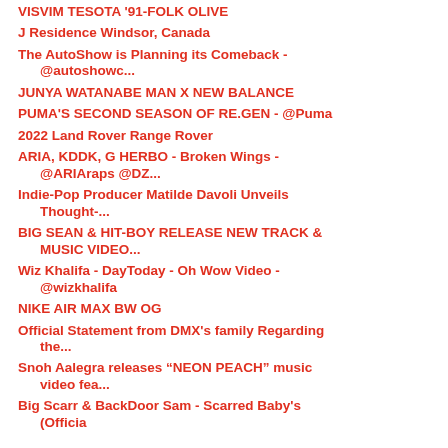VISVIM TESOTA '91-FOLK OLIVE
J Residence Windsor, Canada
The AutoShow is Planning its Comeback - @autoshowc...
JUNYA WATANABE MAN X NEW BALANCE
PUMA'S SECOND SEASON OF RE.GEN - @Puma
2022 Land Rover Range Rover
ARIA, KDDK, G HERBO - Broken Wings - @ARIAraps @DZ...
Indie-Pop Producer Matilde Davoli Unveils Thought-...
BIG SEAN & HIT-BOY RELEASE NEW TRACK & MUSIC VIDEO...
Wiz Khalifa - DayToday - Oh Wow Video - @wizkhalifa
NIKE AIR MAX BW OG
Official Statement from DMX's family Regarding the...
Snoh Aalegra releases “NEON PEACH” music video fea...
Big Scarr & BackDoor Sam - Scarred Baby's (Officia